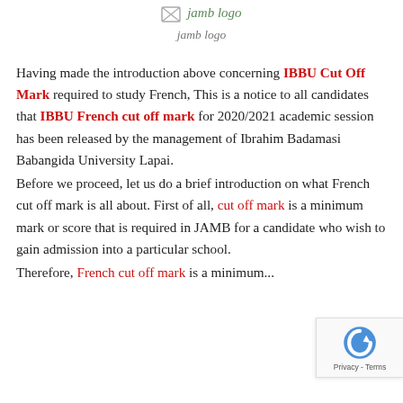[Figure (illustration): Broken image placeholder with text 'jamb logo' in green italic, indicating a missing JAMB logo image]
jamb logo
Having made the introduction above concerning IBBU Cut Off Mark required to study French, This is a notice to all candidates that IBBU French cut off mark for 2020/2021 academic session has been released by the management of Ibrahim Badamasi Babangida University Lapai.
Before we proceed, let us do a brief introduction on what French cut off mark is all about. First of all, cut off mark is a minimum mark or score that is required in JAMB for a candidate who wish to gain admission into a particular school.
Therefore, French cut off mark is a minimum...